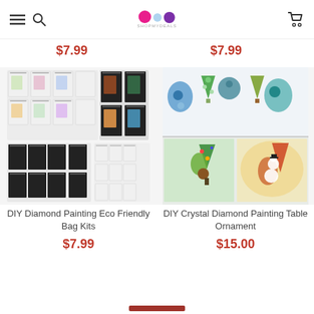ShopMyDeals - navigation header
$7.99
$7.99
[Figure (photo): DIY Diamond Painting Eco Friendly Bag Kits - collage of tote bags with diamond painting designs, both black and white bags with colorful painted motifs]
DIY Diamond Painting Eco Friendly Bag Kits
$7.99
[Figure (photo): DIY Crystal Diamond Painting Table Ornament - Christmas tree shaped table ornaments decorated with crystal diamond painting, shown in multiple colorful designs]
DIY Crystal Diamond Painting Table Ornament
$15.00